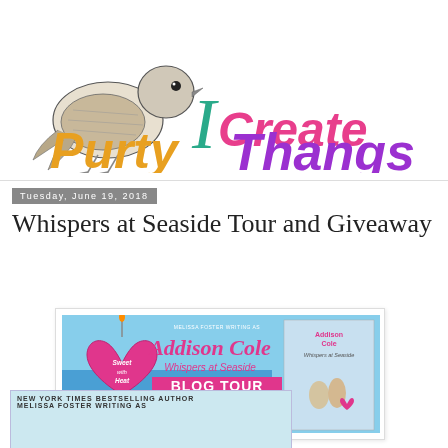[Figure (logo): Blog header logo: sparrow bird illustration on left, colorful handwritten text 'I Create Purty Thangs' in teal, pink, orange, and purple]
Tuesday, June 19, 2018
Whispers at Seaside Tour and Giveaway
[Figure (illustration): Blog tour banner for Addison Cole's 'Whispers at Seaside', Sweet with Heat series. Shows pink heart with candle, beach background, author name, book title, BLOG TOUR text, and book cover image.]
[Figure (illustration): Bottom card with light blue background, text 'NEW YORK TIMES BESTSELLING AUTHOR MELISSA FOSTER WRITING AS']